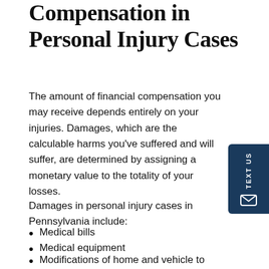Compensation in Personal Injury Cases
The amount of financial compensation you may receive depends entirely on your injuries. Damages, which are the calculable harms you've suffered and will suffer, are determined by assigning a monetary value to the totality of your losses.
Damages in personal injury cases in Pennsylvania include:
Medical bills
Medical equipment
Modifications of home and vehicle to accommodate serious injury